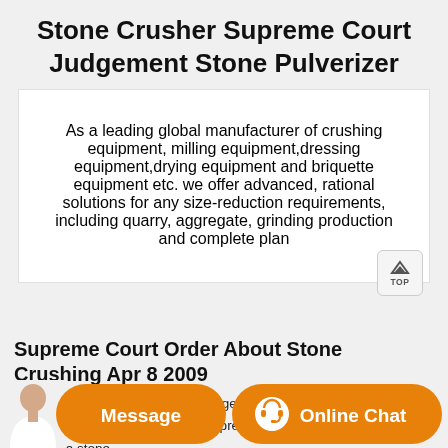Stone Crusher Supreme Court Judgement Stone Pulverizer
As a leading global manufacturer of crushing equipment, milling equipment,dressing equipment,drying equipment and briquette equipment etc. we offer advanced, rational solutions for any size-reduction requirements, including quarry, aggregate, grinding production and complete plan
Supreme Court Order About Stone Crushing Apr 8 2009
Stone Crusher Supreme Court Judgement. Supreme Court Case Status Karnataka Stonecrusher supreme court judgement on karnataka stone crushing
[Figure (other): Orange chat bar at the bottom with a customer service avatar, a Message button, and an Online Chat button with headset icon]